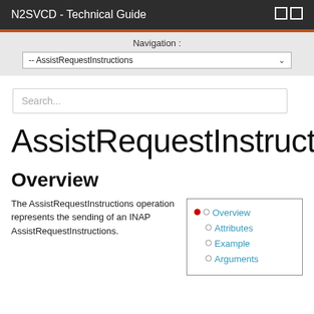N2SVCD - Technical Guide
Navigation : -- AssistRequestInstructions
Search...
AssistRequestInstructions
Overview
The AssistRequestInstructions operation represents the sending of an INAP AssistRequestInstructions.
Overview
Attributes
Example
Arguments